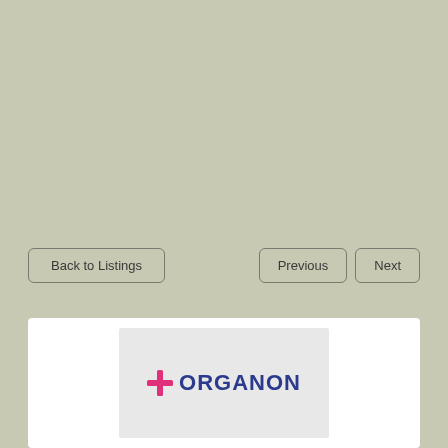[Figure (screenshot): Navigation buttons: 'Back to Listings' on the left, 'Previous' and 'Next' on the right, on a grey-green background]
[Figure (logo): Organon logo — pink cross symbol followed by 'ORGANON' in dark blue bold letters, on a light grey box within a white card]